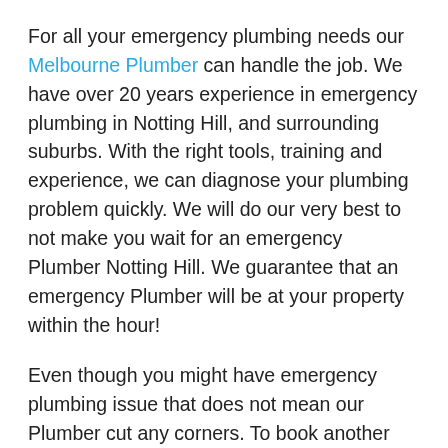For all your emergency plumbing needs our Melbourne Plumber can handle the job. We have over 20 years experience in emergency plumbing in Notting Hill, and surrounding suburbs. With the right tools, training and experience, we can diagnose your plumbing problem quickly. We will do our very best to not make you wait for an emergency Plumber Notting Hill. We guarantee that an emergency Plumber will be at your property within the hour!
Even though you might have emergency plumbing issue that does not mean our Plumber cut any corners. To book another appointment with a Plumber to visit you a second time is the last thing you want. Our goal is to fix the problem on our first visit. That is why our emergency Plumber Notting Hill has a vehicle that is fully equipped to handle just about every plumbing problem. If our Plumber does not have the right part on board, we will order it in straight away and put a short term